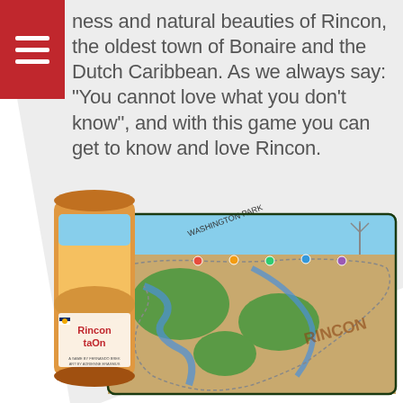ness and natural beauties of Rincon, the oldest town of Bonaire and the Dutch Caribbean. As we always say: “You cannot love what you don’t know”, and with this game you can get to know and love Rincon.
[Figure (photo): Product photo showing the Rincon taOn board game: a cylindrical tube container with the game name and Caribbean-themed artwork, alongside the open board game showing a path-based map of Rincon with illustrated landmarks, water features, and colored game tokens.]